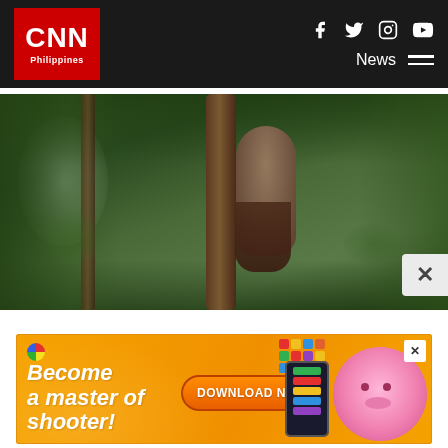CNN Philippines — Navigation bar with CNN Philippines logo, social media icons (Facebook, Twitter, Instagram, YouTube), News menu
[Figure (photo): Video still of a person in a tropical rainforest, surrounded by dense vegetation and tree trunks, with a waterfall or light source visible in the background. A close button (X) appears at the bottom right.]
[Figure (photo): Advertisement banner with orange background: 'Become a master of shooter!' text on left, 'DOWNLOAD NOW' orange button in center, a game UI grid and a pink star character with a mobile phone on the right. Close (X) button in top right corner.]